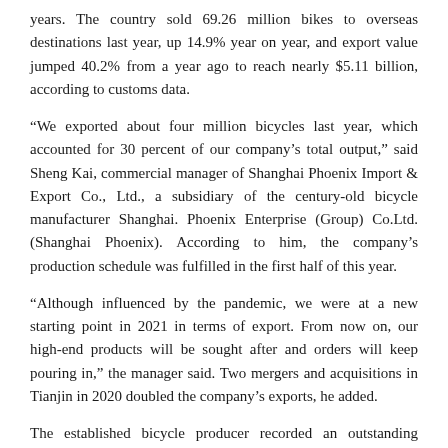years. The country sold 69.26 million bikes to overseas destinations last year, up 14.9% year on year, and export value jumped 40.2% from a year ago to reach nearly $5.11 billion, according to customs data.
“We exported about four million bicycles last year, which accounted for 30 percent of our company’s total output,” said Sheng Kai, commercial manager of Shanghai Phoenix Import & Export Co., Ltd., a subsidiary of the century-old bicycle manufacturer Shanghai. Phoenix Enterprise (Group) Co.Ltd. (Shanghai Phoenix). According to him, the company’s production schedule was fulfilled in the first half of this year.
“Although influenced by the pandemic, we were at a new starting point in 2021 in terms of export. From now on, our high-end products will be sought after and orders will keep pouring in,” the manager said. Two mergers and acquisitions in Tianjin in 2020 doubled the company’s exports, he added.
The established bicycle producer recorded an outstanding performance in its sales to developed countries, and 64% of its total exports went to Europe, the United States and Japan.